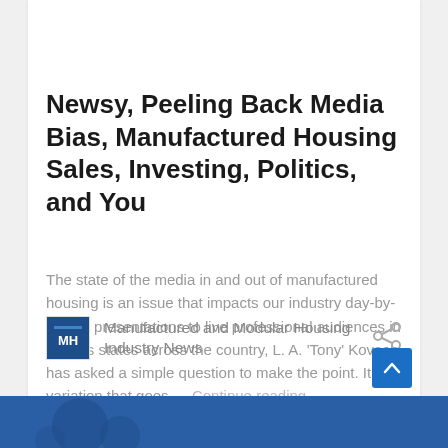[Figure (screenshot): Banner image showing newspaper/media background with yellow text box reading 'Newsy, Peeling Back Media Bias, Manufactured Housing Sales, Investing, Politics, and You']
Newsy, Peeling Back Media Bias, Manufactured Housing Sales, Investing, Politics, and You
The state of the media in and out of manufactured housing is an issue that impacts our industry day-by-day. In presentations to live professional audiences in various states across the country, L. A. 'Tony' Kovach has asked a simple question to make the point. It is a variation that goes … Continue reading
Manufactured and Modular Housing Industry News